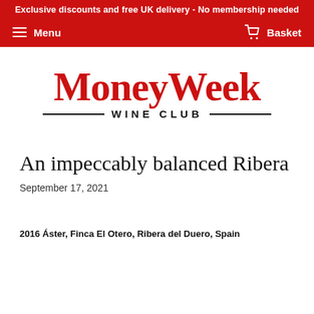Exclusive discounts and free UK delivery - No membership needed
Menu | Basket
[Figure (logo): MoneyWeek Wine Club logo in red serif font with decorative lines]
An impeccably balanced Ribera
September 17, 2021
2016 Áster, Finca El Otero, Ribera del Duero, Spain